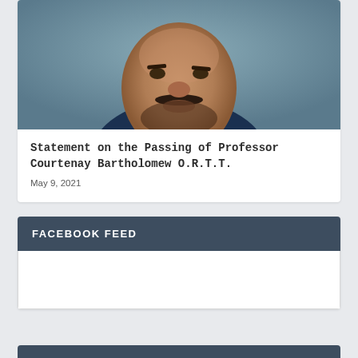[Figure (photo): Close-up portrait photograph of Professor Courtenay Bartholomew O.R.T.T., a man with a mustache and beard wearing a suit with white collar, photographed against a grey-blue background.]
Statement on the Passing of Professor Courtenay Bartholomew O.R.T.T.
May 9, 2021
FACEBOOK FEED